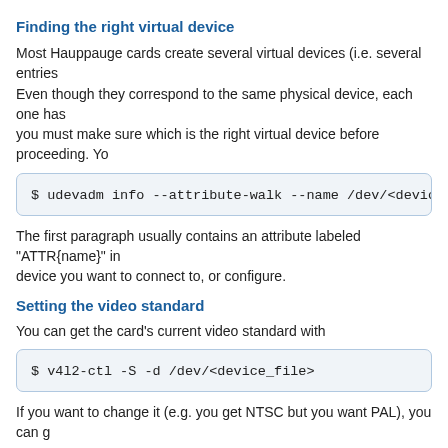Finding the right virtual device
Most Hauppauge cards create several virtual devices (i.e. several entries Even though they correspond to the same physical device, each one has you must make sure which is the right virtual device before proceeding. Yo
$ udevadm info --attribute-walk --name /dev/<device_file
The first paragraph usually contains an attribute labeled "ATTR{name}" in device you want to connect to, or configure.
Setting the video standard
You can get the card's current video standard with
$ v4l2-ctl -S -d /dev/<device_file>
If you want to change it (e.g. you get NTSC but you want PAL), you can g
$ v4l2-ctl --list-standards -d /dev/<device_file>